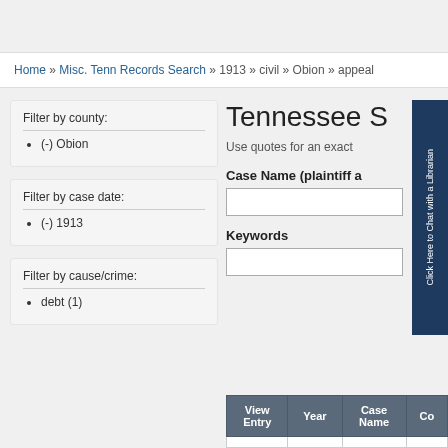Home » Misc. Tenn Records Search » 1913 » civil » Obion » appeal
Filter by county:
(-) Obion
Filter by case date:
(-) 1913
Filter by cause/crime:
debt (1)
Tennessee S
Use quotes for an exact
Case Name (plaintiff a
Keywords
[Figure (other): Click Here to Chat with a Librarian button on right side]
| View Entry | Year | Case Name | Co |
| --- | --- | --- | --- |
|  |  |  |  |